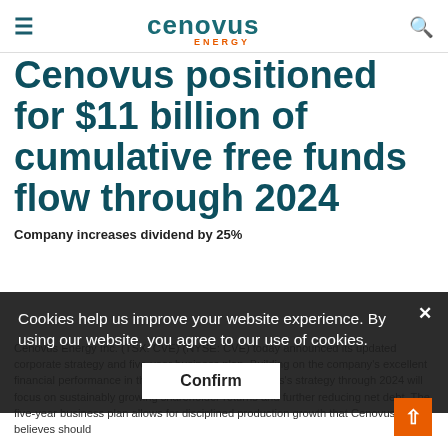cenovus ENERGY
Cenovus positioned for $11 billion of cumulative free funds flow through 2024
Company increases dividend by 25%
Cookies help us improve your website experience. By using our website, you agree to our use of cookies
Cenovus Energy Inc. (TSX: CVE) (NYSE: CVE) today announced its updated corporate strategy and five-year business plan. Building on the company's excellent financial performance in the first half of 2019, Cenovus's strategy through 2024 will focus on sustainably growing shareholder returns and further reducing net debt. The five-year business plan allows for disciplined production growth that Cenovus believes should